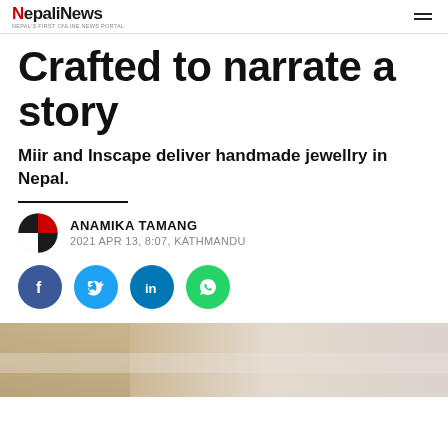NepalNews — Nepal's first online news portal
Crafted to narrate a story
Miir and Inscape deliver handmade jewellry in Nepal.
ANAMIKA TAMANG
2021 APR 13, 8:07, KATHMANDU
[Figure (infographic): Social media share buttons: Facebook, Twitter, LinkedIn, WhatsApp]
[Figure (photo): Partial photo of handmade jewellry items on a light background]